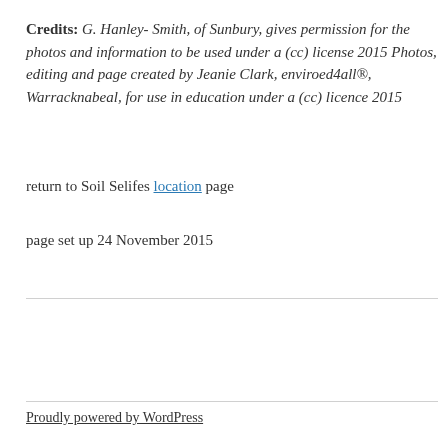Credits: G. Hanley- Smith, of Sunbury, gives permission for the photos and information to be used under a (cc) license 2015 Photos, editing and page created by Jeanie Clark, enviroed4all®, Warracknabeal, for use in education under a (cc) licence 2015
return to Soil Selifes location page
page set up 24 November 2015
Proudly powered by WordPress